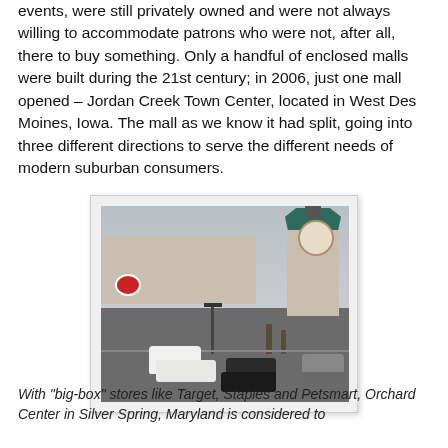events, were still privately owned and were not always willing to accommodate patrons who were not, after all, there to buy something. Only a handful of enclosed malls were built during the 21st century; in 2006, just one mall opened – Jordan Creek Town Center, located in West Des Moines, Iowa. The mall as we know it had split, going into three different directions to serve the different needs of modern suburban consumers.
[Figure (photo): Exterior photograph of a strip mall or power center shopping area with a prominent beige clock tower with a green roof on the right side, a large flat-roofed retail building on the left with a Target store sign visible, bare winter trees in the middle, cars parked in a parking lot in the foreground, and an overcast grey sky.]
With "big-box" stores like Target, Staples and Petsmart, Orchard Center in Silver Spring, Maryland is considered to be a "power center" mall.